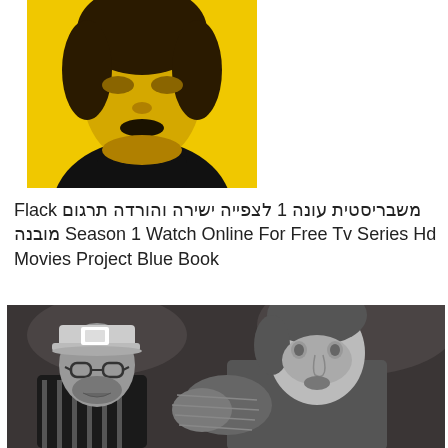[Figure (photo): A woman's face with yellow/golden light against a black background, wearing a black turtleneck. Stylized promotional photo.]
Flack משבריסטית עונה 1 לצפייה ישירה והורדה תרגום מובנה Season 1 Watch Online For Free Tv Series Hd Movies Project Blue Book
[Figure (photo): Black and white photo of two men facing each other, one wearing a trucker hat and glasses, the other a younger man in a rugged shirt.]